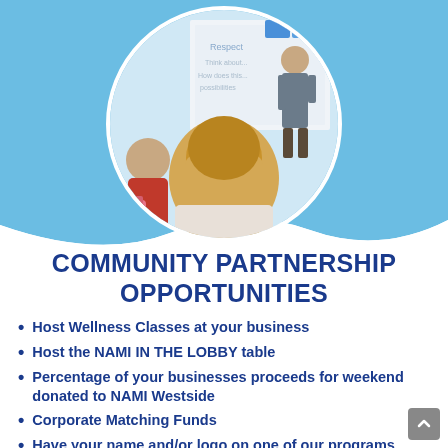[Figure (photo): Circular cropped photo of a classroom or workshop setting: a person with long blonde hair seen from behind, another person in a red top, and a presenter/instructor standing at a whiteboard at the front of the room.]
COMMUNITY PARTNERSHIP OPPORTUNITIES
Host Wellness Classes at your business
Host the NAMI IN THE LOBBY table
Percentage of your businesses proceeds for weekend donated to NAMI Westside
Corporate Matching Funds
Have your name and/or logo on one of our programs